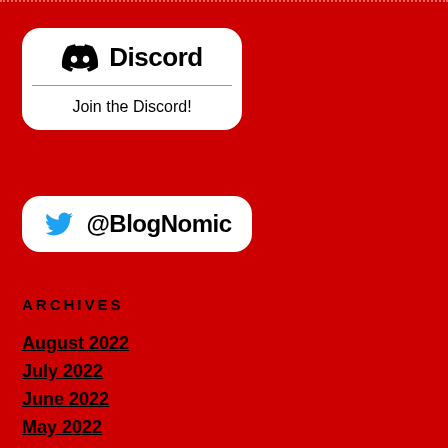[Figure (logo): Discord button with Discord logo icon and text 'Discord' on top half, and 'Join the Discord!' on bottom half, white rounded rectangle]
[Figure (logo): Twitter button with blue Twitter bird logo and '@BlogNomic' text, white rounded rectangle]
Archives
August 2022
July 2022
June 2022
May 2022
April 2022
March 2022
February 2022